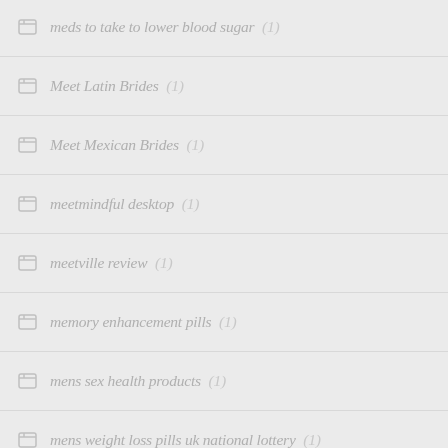meds to take to lower blood sugar (1)
Meet Latin Brides (1)
Meet Mexican Brides (1)
meetmindful desktop (1)
meetville review (1)
memory enhancement pills (1)
mens sex health products (1)
mens weight loss pills uk national lottery (1)
mens weight loss pills uk top (1)
Metformin medications for diabetes (1)